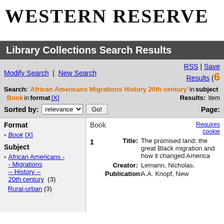WESTERN RESERVE
Library Collections Search Results
Modify Search | New Search | RSS | Save Results (0)
Search: 'African Americans Migrations History 20th century' in subject Book in format [X] Results: Items Page:
Sorted by: relevance Go!
Format
Book [X]
Subject
African Americans -- Migrations -- History -- 20th century (3)
Rural-urban (3)
Book
Requires cookies
1  Title: The promised land: the great Black migration and how it changed America  Creator: Lemann, Nicholas.  Publication: A.A. Knopf, New